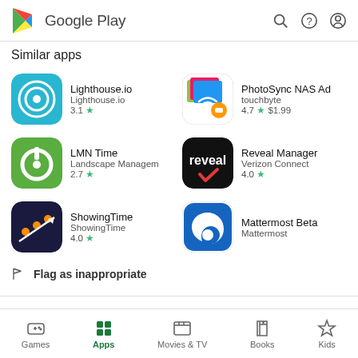Google Play
Similar apps
[Figure (screenshot): Lighthouse.io app icon - cyan/teal background with concentric circles and dot]
Lighthouse.io
Lighthouse.io
3.1 ★
[Figure (screenshot): PhotoSync NAS Ad app icon - black background with colorful photos and wifi/orange symbol]
PhotoSync NAS Ad
touchbyte
4.7 ★  $1.99
[Figure (screenshot): LMN Time app icon - green background with calendar/clock symbol]
LMN Time
Landscape Managem
2.7 ★
[Figure (screenshot): Reveal Manager app icon - black background with reveal text and red checkmark]
Reveal Manager
Verizon Connect
4.0 ★
[Figure (screenshot): ShowingTime app icon - dark blue/navy background with orange dots and arrow]
ShowingTime
ShowingTime
4.0 ★
[Figure (screenshot): Mattermost Beta app icon - blue background with swirl/power button logo]
Mattermost Beta
Mattermost
Flag as inappropriate
Games  Apps  Movies & TV  Books  Kids